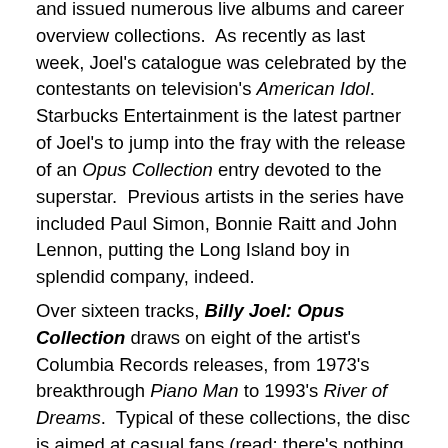and issued numerous live albums and career overview collections.  As recently as last week, Joel's catalogue was celebrated by the contestants on television's American Idol.  Starbucks Entertainment is the latest partner of Joel's to jump into the fray with the release of an Opus Collection entry devoted to the superstar.  Previous artists in the series have included Paul Simon, Bonnie Raitt and John Lennon, putting the Long Island boy in splendid company, indeed.
Over sixteen tracks, Billy Joel: Opus Collection draws on eight of the artist's Columbia Records releases, from 1973's breakthrough Piano Man to 1993's River of Dreams.  Typical of these collections, the disc is aimed at casual fans (read: there's nothing new here) and completists, but isn't a strict "greatest hits" compilation either, blending key favorites with successful singles.  Five